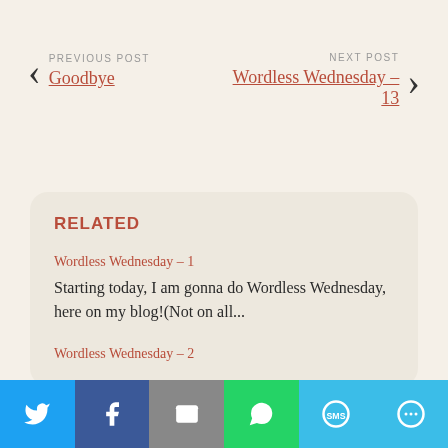PREVIOUS POST
Goodbye
NEXT POST
Wordless Wednesday – 13
RELATED
Wordless Wednesday – 1
Starting today, I am gonna do Wordless Wednesday, here on my blog!(Not on all...
Wordless Wednesday – 2
[Figure (infographic): Social sharing bar with icons for Twitter, Facebook, Email, WhatsApp, SMS, and More]